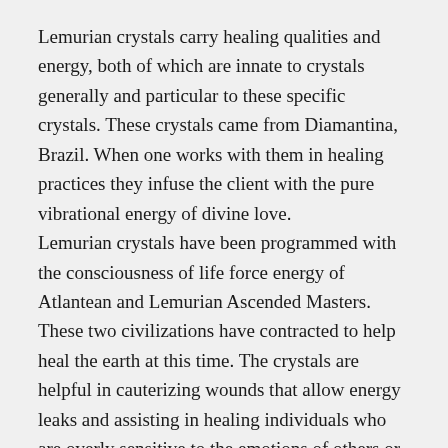Lemurian crystals carry healing qualities and energy, both of which are innate to crystals generally and particular to these specific crystals. These crystals came from Diamantina, Brazil. When one works with them in healing practices they infuse the client with the pure vibrational energy of divine love.
Lemurian crystals have been programmed with the consciousness of life force energy of Atlantean and Lemurian Ascended Masters. These two civilizations have contracted to help heal the earth at this time. The crystals are helpful in cauterizing wounds that allow energy leaks and assisting in healing individuals who are overly sensitive to the emotions of others or who have been energetically traumatized by negative environments. Lemurian Crystals evoke feelings of peace and serenity. You may experience insights and release of specific personal issues and memories. You may have